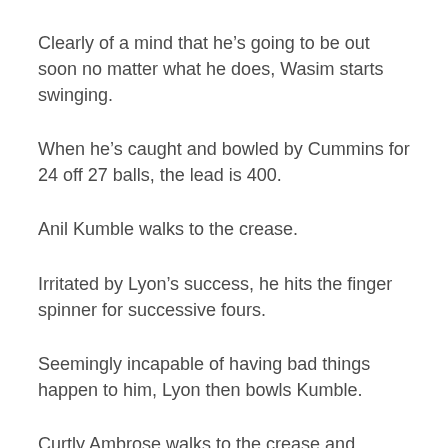Clearly of a mind that he’s going to be out soon no matter what he does, Wasim starts swinging.
When he’s caught and bowled by Cummins for 24 off 27 balls, the lead is 400.
Anil Kumble walks to the crease.
Irritated by Lyon’s success, he hits the finger spinner for successive fours.
Seemingly incapable of having bad things happen to him, Lyon then bowls Kumble.
Curtly Ambrose walks to the crease and